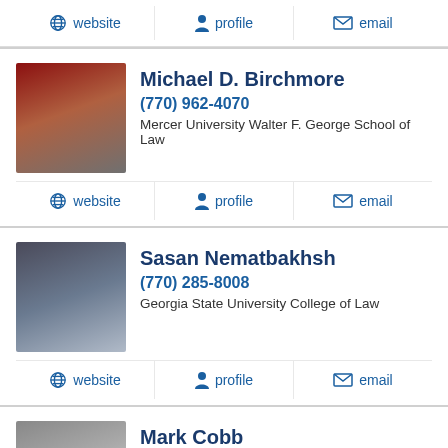website  profile  email
Michael D. Birchmore
(770) 962-4070
Mercer University Walter F. George School of Law
website  profile  email
Sasan Nematbakhsh
(770) 285-8008
Georgia State University College of Law
website  profile  email
Mark Cobb